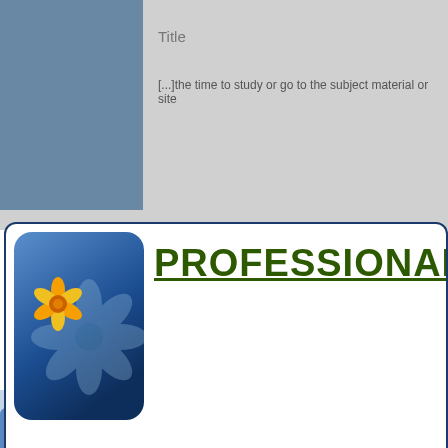Title
[...]the time to study or go to the subject material or site
[Figure (logo): Professional advice website logo with flower icon on blue gradient background and green underlined text reading PROFESSIONAL ADVI...]
Upload Your Resume and Get
Daily Job Search Advice | Career Advancement Tips | Informative Articles on Life Lessons And much more...
Email Address
Upload Resume  Choose File  No file chosen